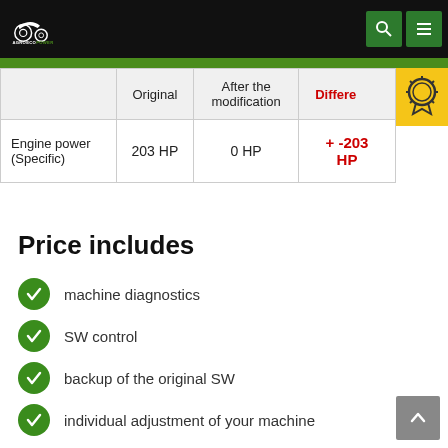AGROECOPOWER
|  | Original | After the modification | Difference |
| --- | --- | --- | --- |
| Engine power (Specific) | 203 HP | 0 HP | + -203 HP |
Price includes
machine diagnostics
SW control
backup of the original SW
individual adjustment of your machine